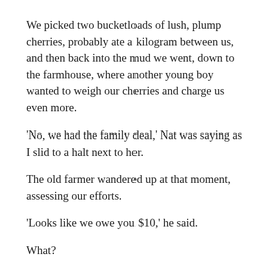We picked two bucketloads of lush, plump cherries, probably ate a kilogram between us, and then back into the mud we went, down to the farmhouse, where another young boy wanted to weigh our cherries and charge us even more.
'No, we had the family deal,' Nat was saying as I slid to a halt next to her.
The old farmer wandered up at that moment, assessing our efforts.
'Looks like we owe you $10,' he said.
What?
'You can go collect $10 from the house over there,' he pointed to a shed up another hill.